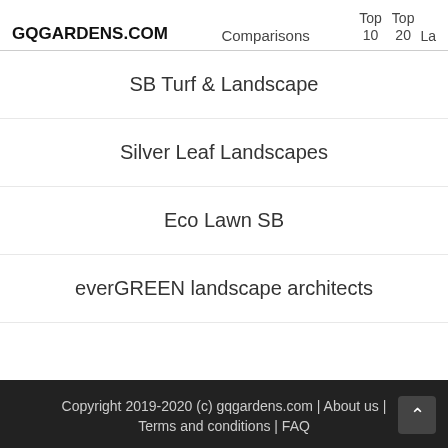GQGARDENS.COM  Comparisons  Top 10  Top 20  La
SB Turf & Landscape
Silver Leaf Landscapes
Eco Lawn SB
everGREEN landscape architects
Copyright 2019-2020 (c) gqgardens.com | About us | Terms and conditions | FAQ